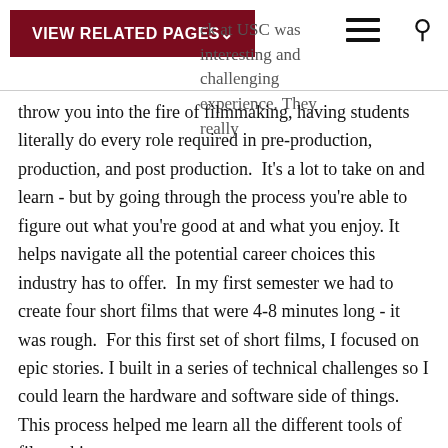VIEW RELATED PAGES
...ck at USC was an interesting and challenging experience. They really throw you into the fire of filmmaking, having students literally do every role required in pre-production, production, and post production.  It's a lot to take on and learn - but by going through the process you're able to figure out what you're good at and what you enjoy. It helps navigate all the potential career choices this industry has to offer.  In my first semester we had to create four short films that were 4-8 minutes long - it was rough.  For this first set of short films, I focused on epic stories. I built in a series of technical challenges so I could learn the hardware and software side of things. This process helped me learn all the different tools of filmmaking.